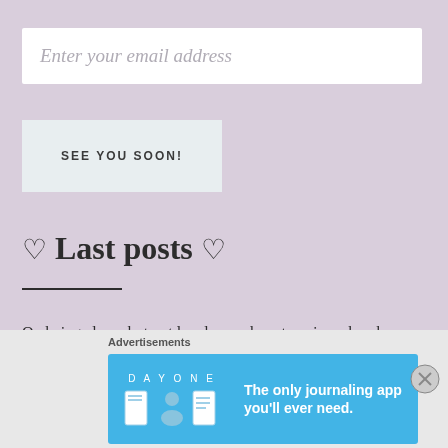Enter your email address
SEE YOU SOON!
♡ Last posts ♡
On being alone, but not lonely – or how to enjoy a break-up
On supporting friends & their art
Advertisements
[Figure (screenshot): DAY ONE journaling app advertisement banner with blue background showing app icons and tagline 'The only journaling app you'll ever need.']